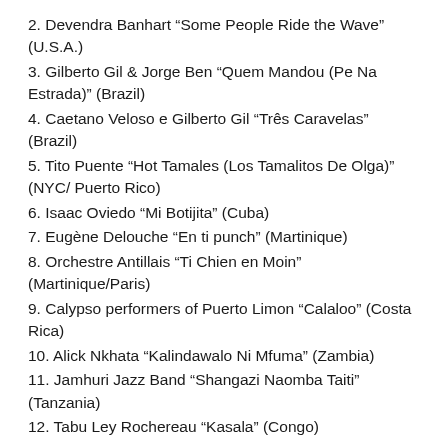2. Devendra Banhart “Some People Ride the Wave” (U.S.A.)
3. Gilberto Gil & Jorge Ben “Quem Mandou (Pe Na Estrada)” (Brazil)
4. Caetano Veloso e Gilberto Gil “Três Caravelas” (Brazil)
5. Tito Puente “Hot Tamales (Los Tamalitos De Olga)” (NYC/ Puerto Rico)
6. Isaac Oviedo “Mi Botijita” (Cuba)
7. Eugène Delouche “En ti punch” (Martinique)
8. Orchestre Antillais “Ti Chien en Moin” (Martinique/Paris)
9. Calypso performers of Puerto Limon “Calaloo” (Costa Rica)
10. Alick Nkhata “Kalindawalo Ni Mfuma” (Zambia)
11. Jamhuri Jazz Band “Shangazi Naomba Taiti” (Tanzania)
12. Tabu Ley Rochereau “Kasala” (Congo)